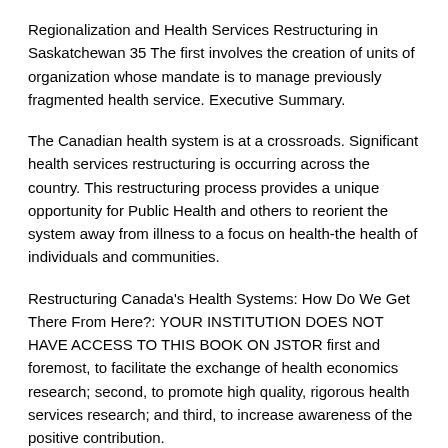Regionalization and Health Services Restructuring in Saskatchewan 35 The first involves the creation of units of organization whose mandate is to manage previously fragmented health service. Executive Summary.
The Canadian health system is at a crossroads. Significant health services restructuring is occurring across the country. This restructuring process provides a unique opportunity for Public Health and others to reorient the system away from illness to a focus on health-the health of individuals and communities.
Restructuring Canada's Health Systems: How Do We Get There From Here?: YOUR INSTITUTION DOES NOT HAVE ACCESS TO THIS BOOK ON JSTOR first and foremost, to facilitate the exchange of health economics research; second, to promote high quality, rigorous health services research; and third, to increase awareness of the positive contribution.
This book tells the story of how the Health Services Restructuring Commission developed a vision of an effective health services system